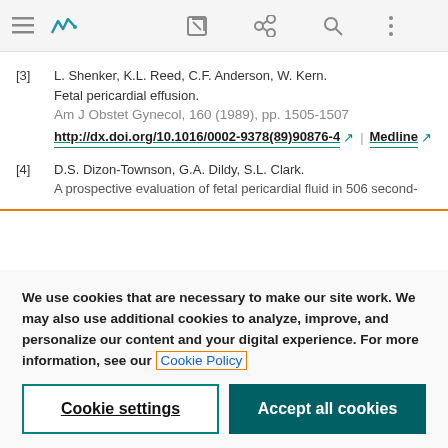Toolbar navigation area (browser UI)
[3] L. Shenker, K.L. Reed, C.F. Anderson, W. Kern. Fetal pericardial effusion. Am J Obstet Gynecol, 160 (1989), pp. 1505-1507 http://dx.doi.org/10.1016/0002-9378(89)90876-4 | Medline
[4] D.S. Dizon-Townson, G.A. Dildy, S.L. Clark. A prospective evaluation of fetal pericardial fluid in 506 second-
We use cookies that are necessary to make our site work. We may also use additional cookies to analyze, improve, and personalize our content and your digital experience. For more information, see our Cookie Policy
Cookie settings | Accept all cookies